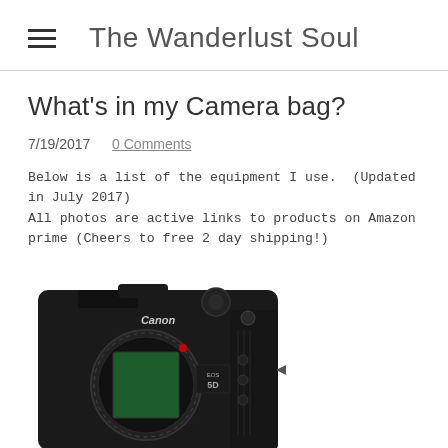The Wanderlust Soul
What's in my Camera bag?
7/19/2017   0 Comments
Below is a list of the equipment I use.  (Updated in July 2017)
All photos are active links to products on Amazon prime (Cheers to free 2 day shipping!)
[Figure (photo): Canon EOS 5D camera body, black DSLR, partially cropped at bottom of page]